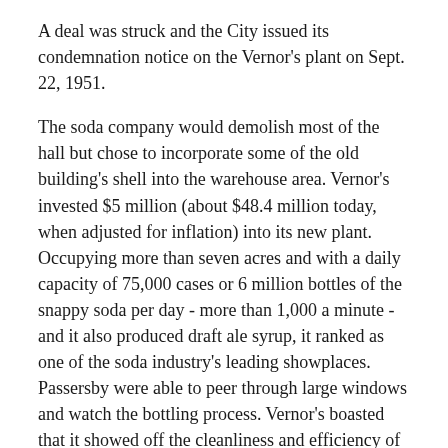A deal was struck and the City issued its condemnation notice on the Vernor's plant on Sept. 22, 1951.
The soda company would demolish most of the hall but chose to incorporate some of the old building's shell into the warehouse area. Vernor's invested $5 million (about $48.4 million today, when adjusted for inflation) into its new plant. Occupying more than seven acres and with a daily capacity of 75,000 cases or 6 million bottles of the snappy soda per day - more than 1,000 a minute - and it also produced draft ale syrup, it ranked as one of the soda industry's leading showplaces. Passersby were able to peer through large windows and watch the bottling process. Vernor's boasted that it showed off the cleanliness and efficiency of its process - and certainly helped advertise to those looking to whet their whistles.
At 250,000 square feet, the facility was 3,000 square feet larger than its old home.
However, company Chairman James Vernor II, son of the